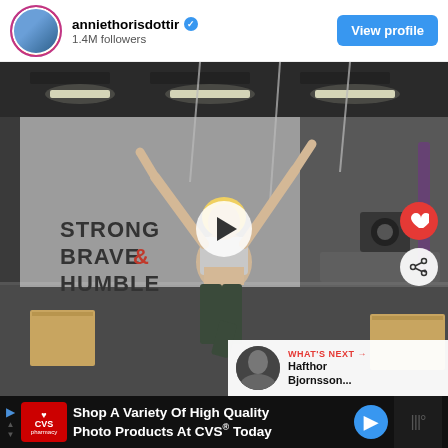anniethorisdottir · 1.4M followers · View profile
[Figure (photo): Instagram video screenshot of Annie Thorisdottir jumping in a gym with arms raised, wearing a gray sports bra and dark leggings. Gym wall reads STRONG BRAVE & HUMBLE. Wooden plyo boxes visible on the floor. Play button overlay in center. Heart and share action buttons on right side. 'WHAT'S NEXT → Hafthor Bjornsson...' overlay in bottom right. Red circle/dumbbell logo visible.]
WHAT'S NEXT → Hafthor Bjornsson...
Shop A Variety Of High Quality Photo Products At CVS® Today